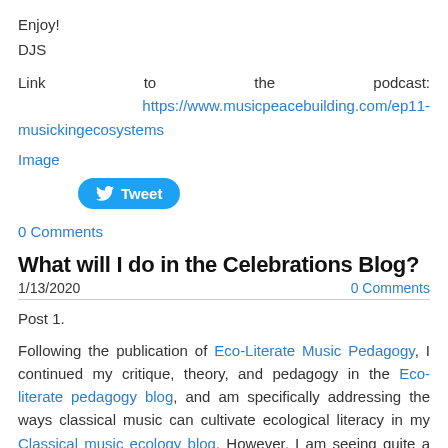Enjoy!
DJS
Link to the podcast: https://www.musicpeacebuilding.com/ep11-musickingecosystems
Image
[Figure (other): Tweet button with Twitter bird icon]
0 Comments
What will I do in the Celebrations Blog?
1/13/2020    0 Comments
Post 1.
Following the publication of Eco-Literate Music Pedagogy, I continued my critique, theory, and pedagogy in the Eco-literate pedagogy blog, and am specifically addressing the ways classical music can cultivate ecological literacy in my Classical music ecology blog. However, I am seeing quite a few solutions emerge in the fields of education, music